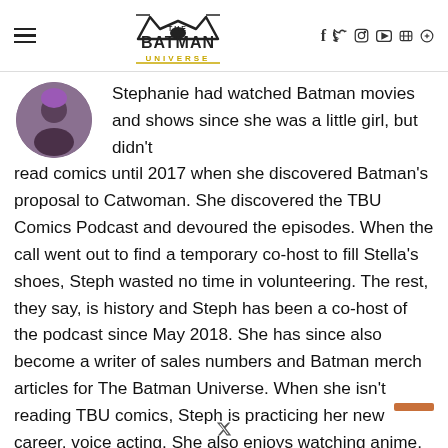The Batman Universe — navigation header with hamburger menu, logo, social icons (f, twitter, instagram, youtube, discord) and search
[Figure (photo): Circular profile photo of a woman with purple-tinted hair, wearing a dark top]
Stephanie had watched Batman movies and shows since she was a little girl, but didn't read comics until 2017 when she discovered Batman's proposal to Catwoman. She discovered the TBU Comics Podcast and devoured the episodes. When the call went out to find a temporary co-host to fill Stella's shoes, Steph wasted no time in volunteering. The rest, they say, is history and Steph has been a co-host of the podcast since May 2018. She has since also become a writer of sales numbers and Batman merch articles for The Batman Universe. When she isn't reading TBU comics, Steph is practicing her new career, voice acting. She also enjoys watching anime, playing games, or living her best life with her husband and two cats.